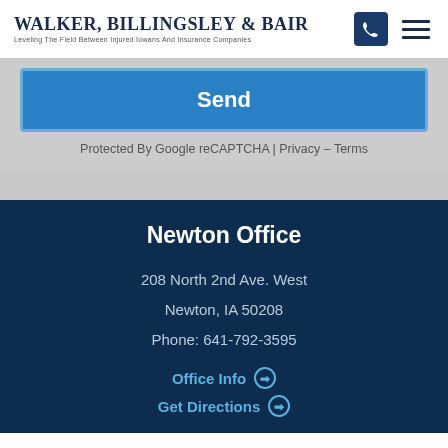Walker, Billingsley & Bair — Leveling The Field Between Injured Iowans And Insurance Companies
Send
Protected By Google reCAPTCHA | Privacy – Terms
Newton Office
208 North 2nd Ave. West
Newton, IA 50208
Phone: 641-792-3595
Office Info ➔
Get Directions ➔